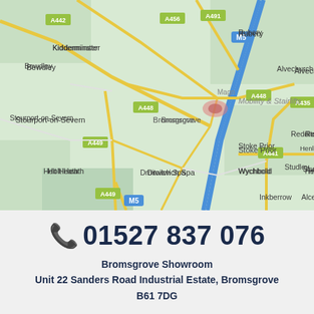[Figure (map): Google Maps style road map showing Bromsgrove area in the West Midlands, UK. Shows roads A442, A456, A491, A448, A449, A435, A441, M5 motorway. Towns include Kidderminster, Bewdley, Stourport-on-Severn, Rubery, Alvechurch, Bromsgrove, Stoke Prior, Wychbold, Holt Heath, Droitwich Spa, Redditch, Studley, Inkberrow, Alcester, Henley-in-Arden. A pink location pin marks Bromsgrove with text 'Magna Mobility & Stairlifts'.]
📞 01527 837 076
Bromsgrove Showroom
Unit 22 Sanders Road Industrial Estate, Bromsgrove
B61 7DG